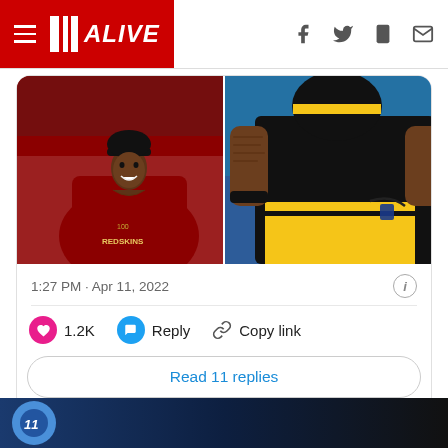11 ALIVE
[Figure (photo): Two NFL football player photos side by side: left shows a smiling player in a dark red Redskins jersey with a headband, right shows a player in black and yellow Steelers uniform]
1:27 PM · Apr 11, 2022
1.2K  Reply  Copy link
Read 11 replies
RELATED: Star quarterback Dwayne Haskins' light shined far beyond football field at Bullis School
[Figure (photo): Bottom strip showing partial image with blue circle logo]